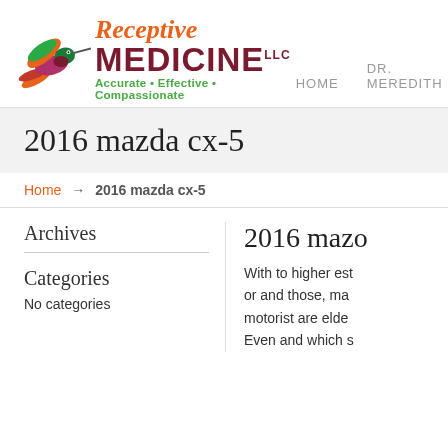[Figure (logo): Receptive Medicine LLC logo with hummingbird illustration and tagline 'Accurate • Effective • Compassionate']
HOME    DR. MEREDITH
2016 mazda cx-5
Home → 2016 mazda cx-5
Archives
Categories
No categories
2016 mazo
With to higher est or and those, ma motorist are elder Even and which s